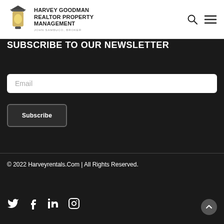HARVEY GOODMAN REALTOR PROPERTY MANAGEMENT JOHN SAMBUCO, BROKER
SUBSCRIBE TO OUR NEWSLETTER
Email
Subscribe
© 2022 Harveyrentals.Com | All Rights Reserved.